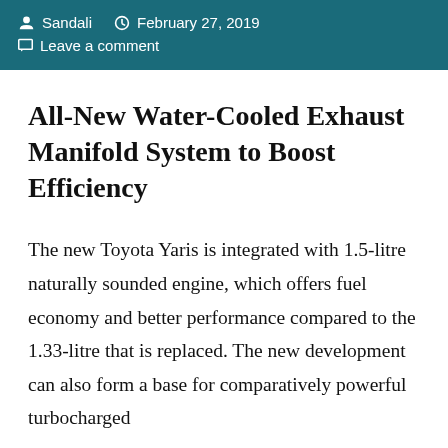Sandali  February 27, 2019  Leave a comment
All-New Water-Cooled Exhaust Manifold System to Boost Efficiency
The new Toyota Yaris is integrated with 1.5-litre naturally sounded engine, which offers fuel economy and better performance compared to the 1.33-litre that is replaced. The new development can also form a base for comparatively powerful turbocharged